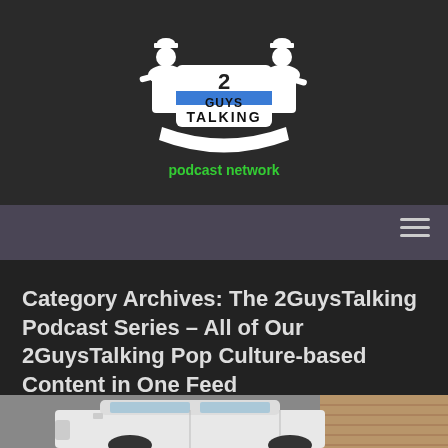[Figure (logo): 2 Guys Talking Podcast Network logo — two silhouetted figures in bowler hats flanking a shield/badge shape with '2 GUYS TALKING' in bold and 'podcast network' in green text below]
Category Archives: The 2GuysTalking Podcast Series – All of Our 2GuysTalking Pop Culture-based Content in One Feed
[Figure (photo): Partial view of a white police or law enforcement vehicle parked near a brick building, photographed in natural outdoor light]